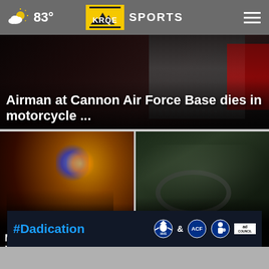83° KRQE SPORTS
[Figure (screenshot): Hero image: Airman at Cannon Air Force Base headline card with dark photo background]
Airman at Cannon Air Force Base dies in motorcycle ...
[Figure (photo): Night scene with police lights, crowd, and vehicles - cartel murders story]
Murders pile up as cartels battle for co...
[Figure (photo): Dark outdoor scene, car interior visible - La Linea cartel story]
La Linea cartel leader extradited to face drug ×
[Figure (infographic): Ad banner: #Dadication with HHS, ACF, National Responsible Fatherhood Clearinghouse, Ad Council logos]
#Dadication